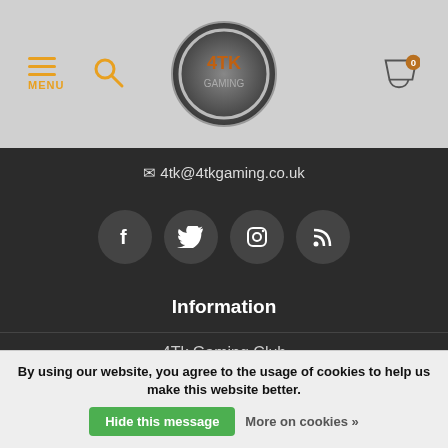MENU | search | logo | cart 0
4tk@4tkgaming.co.uk
[Figure (infographic): Four social media icon buttons: Facebook, Twitter, Instagram, RSS feed, displayed as dark circular buttons with white icons]
Information
4Tk Gaming Club
About us
General terms & conditions
By using our website, you agree to the usage of cookies to help us make this website better. Hide this message More on cookies »